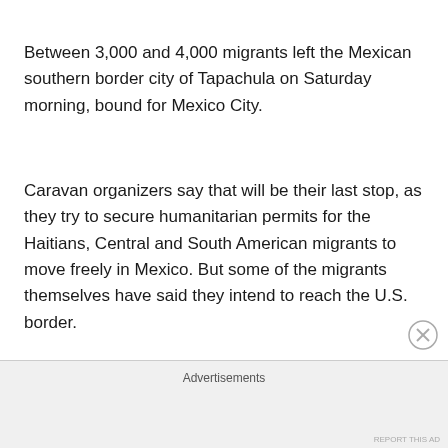Between 3,000 and 4,000 migrants left the Mexican southern border city of Tapachula on Saturday morning, bound for Mexico City.
Caravan organizers say that will be their last stop, as they try to secure humanitarian permits for the Haitians, Central and South American migrants to move freely in Mexico. But some of the migrants themselves have said they intend to reach the U.S. border.
The caravan immediately...
Advertisements